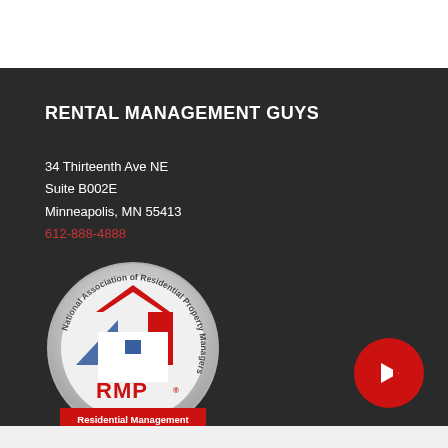RENTAL MANAGEMENT GUYS
34 Thirteenth Ave NE
Suite B002E
Minneapolis, MN 55413
612-888-4888
[Figure (logo): NARPM RMP badge - National Association of Residential Property Managers, Residential Management Professional seal with house icon and blue/red design]